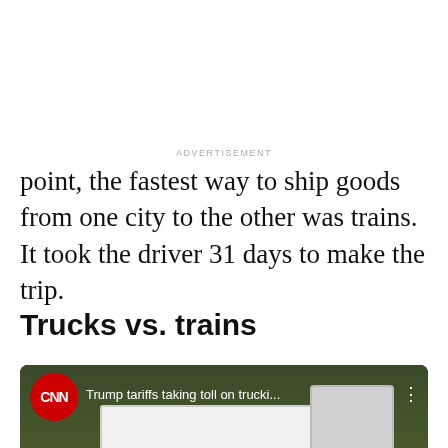point, the fastest way to ship goods from one city to the other was trains. It took the driver 31 days to make the trip.
Trucks vs. trains
[Figure (screenshot): Embedded YouTube video thumbnail from CNN showing a truck on a highway, with title 'Trump tariffs taking toll on trucki...' and a red YouTube play button in the center.]